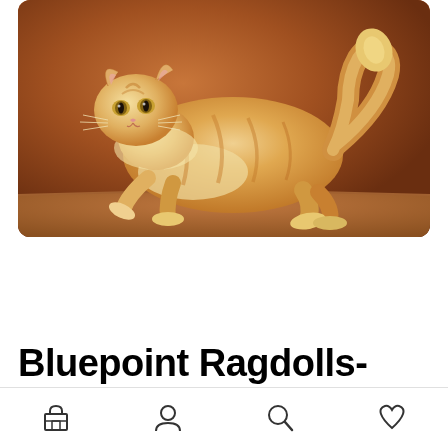[Figure (photo): A large fluffy orange and cream tabby cat walking on a wooden surface against a warm brown background. The cat is photographed in profile, showing its full body from head to tail. The cat has long fur and appears to be a large breed.]
Bluepoint Ragdolls- The Unusual Cat Breed
Navigation bar with shop, profile, search, and favorites icons